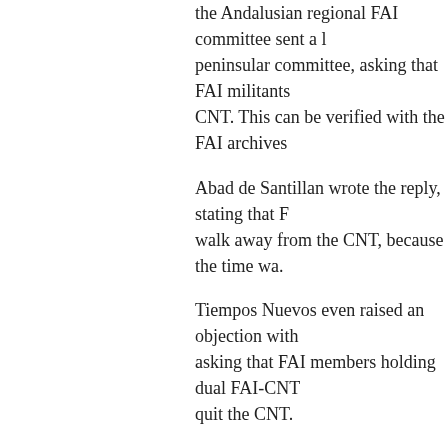the Andalusian regional FAI committee sent a letter to the peninsular committee, asking that FAI militants... CNT. This can be verified with the FAI archives...
Abad de Santillan wrote the reply, stating that FAI should not walk away from the CNT, because the time wa...
Tiempos Nuevos even raised an objection with... asking that FAI members holding dual FAI-CNT... quit the CNT.
Manolo González: In Málaga, unlike in Seville... behind the CNT was the specifically anarchist movement mentioned (the FAI).
Gutiérrez Molina: I mentioned one telling case... FAI militant from 1928 to 1931 and along with him... Pegales, José Lozano, Pino Alvarado, José Bo... others. While he was in Cádiz they set about...